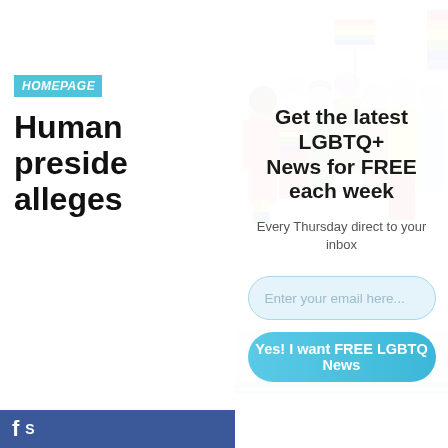HOMEPAGE
Human preside alleges
Alphonso Da
Published 7
By Chris Joh
[Figure (photo): Group of diverse people in colorful LGBTQ+ pride attire holding signs and rainbow flags, jumping and celebrating]
Get the latest LGBTQ+ News for FREE each week
Every Thursday direct to your inbox
Enter your email here...
Yes! I want FREE LGBTQ News
[Figure (photo): Person sitting at a desk, partially visible in lower left]
f S